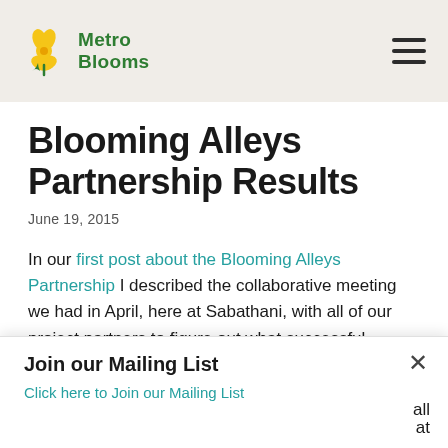Metro Blooms [logo] [hamburger menu]
Blooming Alleys Partnership Results
June 19, 2015
In our first post about the Blooming Alleys Partnership I described the collaborative meeting we had in April, here at Sabathani, with all of our project partners to figure out what successful Blooming Alleys projects will look like and how this partnership enables and contributes to that success.  We spent much of May working on a qualitative analysis of the loads of data that we received from that meeting.  First,
Join our Mailing List
Click here to Join our Mailing List